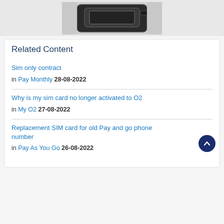[Figure (photo): Partial image of a SIM card slot or SIM card tray, dark grey/black color, shown from above]
Related Content
Sim only contract
in Pay Monthly 28-08-2022
Why is my sim card no longer activated to O2
in My O2 27-08-2022
Replacement SIM card for old Pay and go phone number
in Pay As You Go 26-08-2022